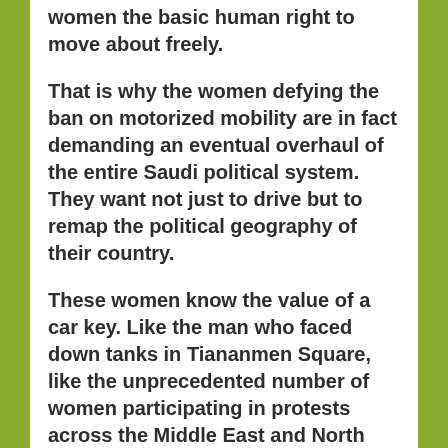women the basic human right to move about freely.
That is why the women defying the ban on motorized mobility are in fact demanding an eventual overhaul of the entire Saudi political system. They want not just to drive but to remap the political geography of their country.
These women know the value of a car key. Like the man who faced down tanks in Tiananmen Square, like the unprecedented number of women participating in protests across the Middle East and North Africa, the Saudi women’s campaign for the right to drive is a harbinger of a new era in the region.
It may require decades to see an end to the Middle